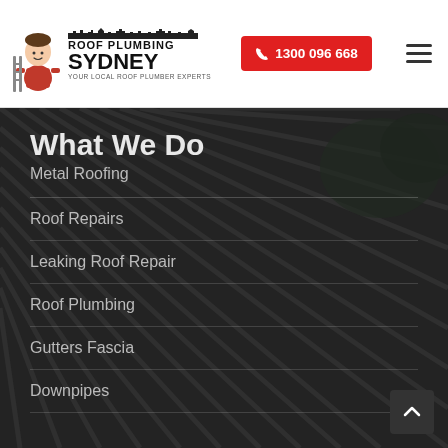[Figure (logo): Roof Plumbing Sydney logo with mascot character and skyline silhouette. Text reads ROOF PLUMBING SYDNEY Your Local Roof Plumber Experts]
☎ 1300 096 668
[Figure (illustration): Dark background aerial photo of a metal roof with corrugated panels]
What We Do
Metal Roofing
Roof Repairs
Leaking Roof Repair
Roof Plumbing
Gutters Fascia
Downpipes